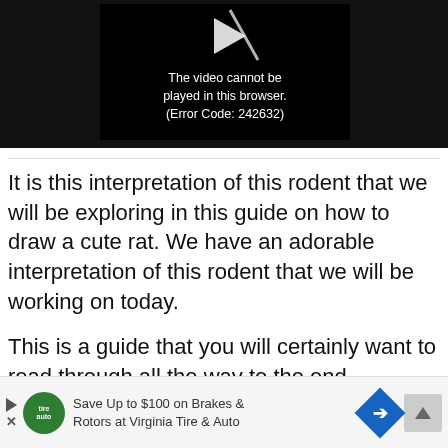[Figure (screenshot): Video player showing a black screen with an error message: 'The video cannot be played in this browser. (Error Code: 242632)' with a play button icon at top.]
It is this interpretation of this rodent that we will be exploring in this guide on how to draw a cute rat. We have an adorable interpretation of this rodent that we will be working on today.

This is a guide that you will certainly want to read through all the way to the end.
[Figure (infographic): Advertisement bar: Save Up to $100 on Brakes & Rotors at Virginia Tire & Auto]